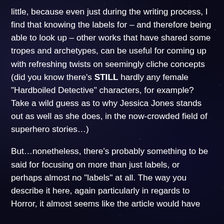little, because even just during the writing process, I find that knowing the labels for – and therefore being able to look up – other works that have shared some tropes and archetypes, can be useful for coming up with refreshing twists on seemingly cliche concepts (did you know there's STILL hardly any female "Hardboiled Detective" characters, for example? Take a wild guess as to why Jessica Jones stands out as well as she does, in the now-crowded field of superhero stories…)
But…nonetheless, there's probably something to be said for focusing on more than just labels, or perhaps almost no "labels" at all. The way you describe it here, again particularly in regards to Horror, it almost seems like the article would have